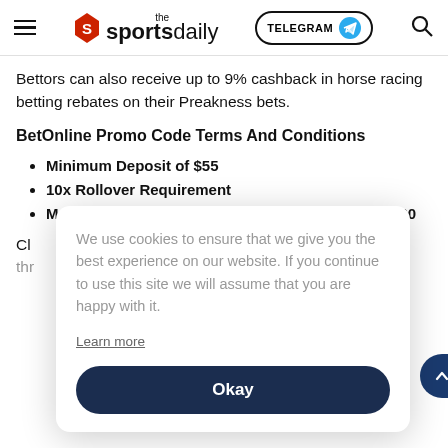the sportsdaily — TELEGRAM — search
Bettors can also receive up to 9% cashback in horse racing betting rebates on their Preakness bets.
BetOnline Promo Code Terms And Conditions
Minimum Deposit of $55
10x Rollover Requirement
Maximum US Horse Racing Betting Bonus of $1,000
We use cookies to ensure that we give you the best experience on our website. If you continue to use this site we will assume that you are happy with it. Learn more  Okay